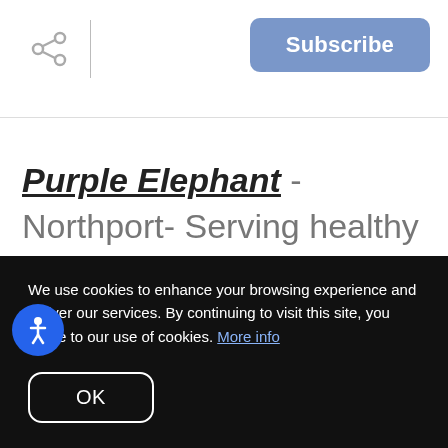Share | Subscribe
Purple Elephant - Northport- Serving healthy and sustainable Latin-inspired dishes and drinks, The Purple Elephant remains among Long Island's leading restaurants for vegans, vegetarians, and
We use cookies to enhance your browsing experience and deliver our services. By continuing to visit this site, you agree to our use of cookies. More info
OK